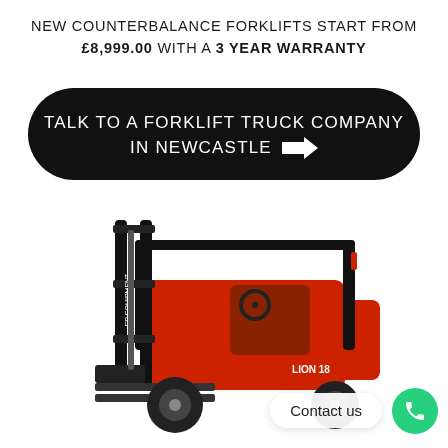NEW COUNTERBALANCE FORKLIFTS START FROM £8,999.00 WITH A 3 YEAR WARRANTY
[Figure (other): Black rounded rectangle button with white text reading 'TALK TO A FORKLIFT TRUCK COMPANY IN NEWCASTLE' with a right arrow icon]
[Figure (photo): Red and black counterbalance forklift truck (EP Equipment, LION 18 model) on white background, viewed from the side]
Contact us